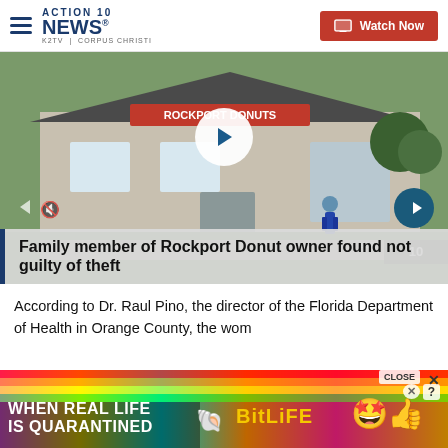ACTION 10 NEWS KZTV | CORPUS CHRISTI — Watch Now
[Figure (screenshot): Video thumbnail of Rockport Donuts storefront with play button overlay and headline: Family member of Rockport Donut owner found not guilty of theft]
Family member of Rockport Donut owner found not guilty of theft
According to Dr. Raul Pino, the director of the Florida Department of Health in Orange County, the wom…
[Figure (other): Advertisement banner: WHEN REAL LIFE IS QUARANTINED — BitLife app ad with colorful rainbow background and emoji characters]